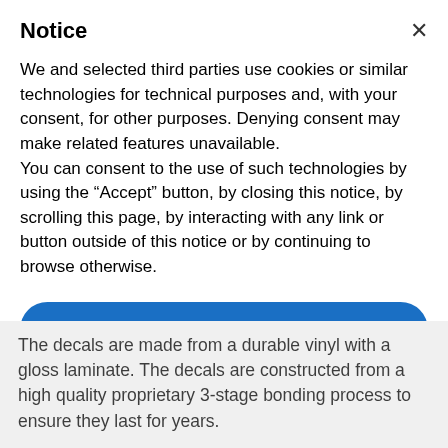Notice
We and selected third parties use cookies or similar technologies for technical purposes and, with your consent, for other purposes. Denying consent may make related features unavailable.
You can consent to the use of such technologies by using the “Accept” button, by closing this notice, by scrolling this page, by interacting with any link or button outside of this notice or by continuing to browse otherwise.
Accept
Learn more and customize
The decals are made from a durable vinyl with a gloss laminate. The decals are constructed from a high quality proprietary 3-stage bonding process to ensure they last for years.